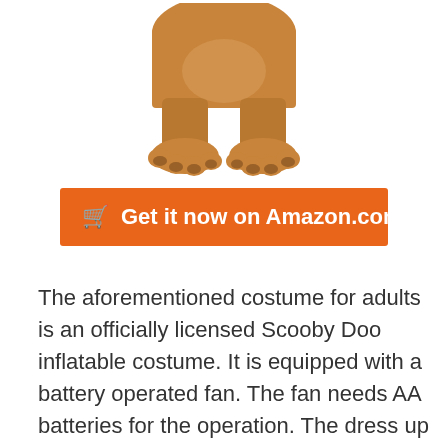[Figure (illustration): Bottom portion of a Scooby Doo inflatable costume showing the lower body and large cartoon paws/feet on a white background]
🛒 Get it now on Amazon.com
The aforementioned costume for adults is an officially licensed Scooby Doo inflatable costume. It is equipped with a battery operated fan. The fan needs AA batteries for the operation. The dress up is such that you can pair it with other members of the gang. Moreover, there is the use of 100% nylon that supports